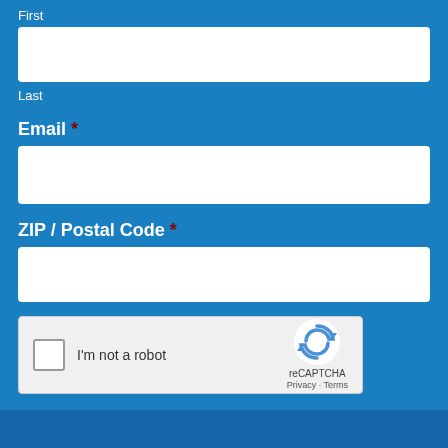First
Last
Email *
ZIP / Postal Code *
[Figure (other): reCAPTCHA widget with checkbox 'I'm not a robot' and reCAPTCHA logo with Privacy and Terms links]